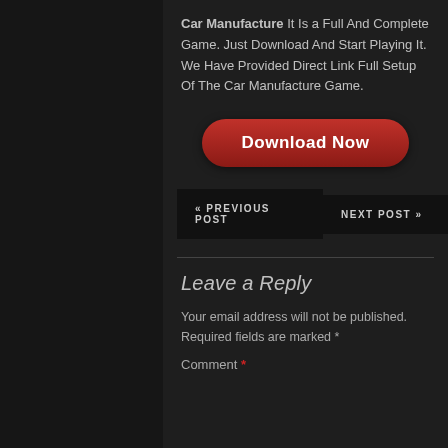Car Manufacture It Is a Full And Complete Game. Just Download And Start Playing It. We Have Provided Direct Link Full Setup Of The Car Manufacture Game.
[Figure (other): Red rounded Download Now button]
« PREVIOUS POST
NEXT POST »
Leave a Reply
Your email address will not be published. Required fields are marked *
Comment *